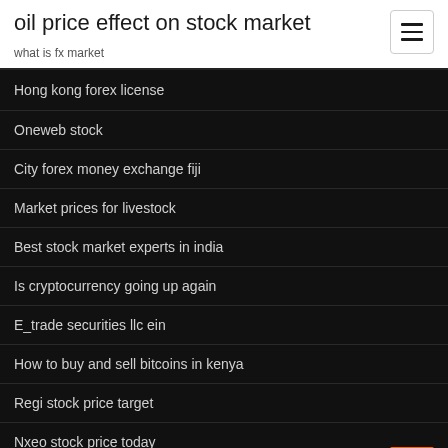oil price effect on stock market
what is fx market
Hong kong forex license
Oneweb stock
City forex money exchange fiji
Market prices for livestock
Best stock market experts in india
Is cryptocurrency going up again
E_trade securities llc ein
How to buy and sell bitcoins in kenya
Regi stock price target
Nxeo stock price today